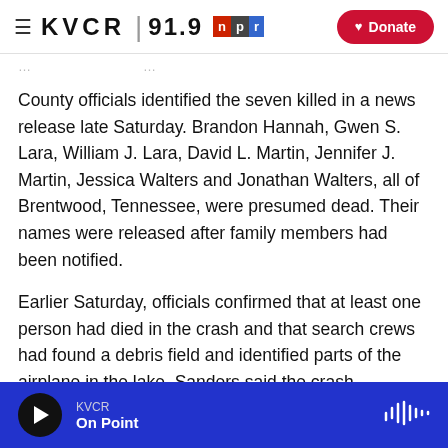≡ KVCR 91.9 npr [Donate]
County officials identified the seven killed in a news release late Saturday. Brandon Hannah, Gwen S. Lara, William J. Lara, David L. Martin, Jennifer J. Martin, Jessica Walters and Jonathan Walters, all of Brentwood, Tennessee, were presumed dead. Their names were released after family members had been notified.
Earlier Saturday, officials confirmed that at least one person had died in the crash and that search crews had found a debris field and identified parts of the airplane in the lake. Sanders said the crash
KVCR — On Point